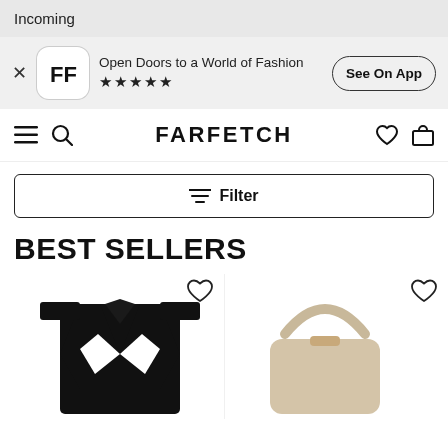Incoming
Open Doors to a World of Fashion ★★★★★
See On App
FARFETCH
Filter
BEST SELLERS
[Figure (screenshot): Black blazer/jacket product thumbnail with white bow detail, with a heart/wishlist icon above it]
[Figure (screenshot): Beige/cream shoulder bag product thumbnail with a heart/wishlist icon above it]